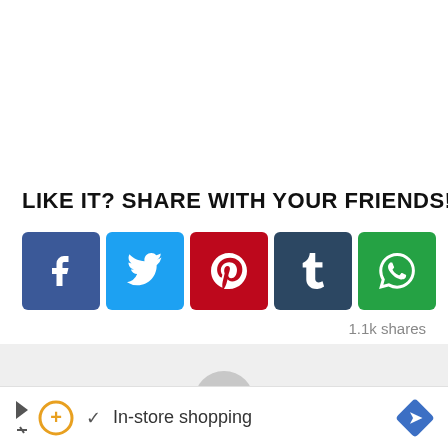LIKE IT? SHARE WITH YOUR FRIENDS!
[Figure (infographic): Social media share buttons: Facebook (blue), Twitter (light blue), Pinterest (red), Tumblr (dark blue), WhatsApp (green)]
1.1k shares
[Figure (photo): Author avatar placeholder — grey circular silhouette on light grey background]
In-store shopping